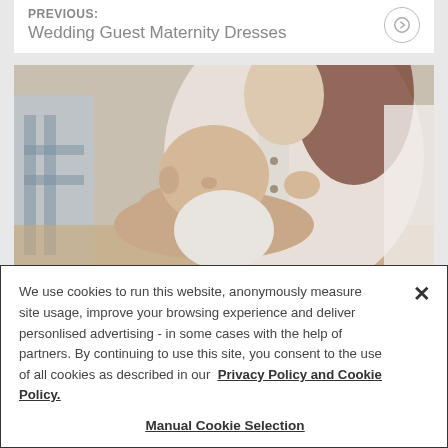Previous: Wedding Guest Maternity Dresses
[Figure (photo): A woman breastfeeding a baby, wearing a white button-up shirt. The baby is held in her arms. Background is blurred with warm tones.]
We use cookies to run this website, anonymously measure site usage, improve your browsing experience and deliver personlised advertising - in some cases with the help of partners. By continuing to use this site, you consent to the use of all cookies as described in our Privacy Policy and Cookie Policy.
Manual Cookie Selection